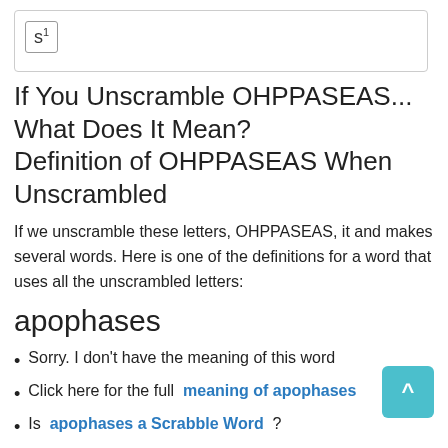[Figure (other): A scrabble tile showing the letter S with a superscript 1]
If You Unscramble OHPPASEAS... What Does It Mean? Definition of OHPPASEAS When Unscrambled
If we unscramble these letters, OHPPASEAS, it and makes several words. Here is one of the definitions for a word that uses all the unscrambled letters:
apophases
Sorry. I don't have the meaning of this word
Click here for the full  meaning of apophases
Is  apophases a Scrabble Word  ?